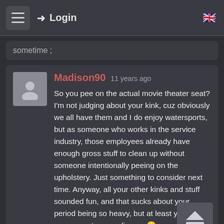Login
sometime ;
Madison90 11 years ago
So you pee on the actual movie theater seat? I'm not judging about your kink, cuz obviously we all have them and I do enjoy watersports, but as someone who works in the service industry, those employees already have enough gross stuff to clean up without someone intentionally peeing on the upholstery. Just something to consider next time. Anyway, all your other kinks and stuff sounded fun, and that sucks about your period being so heavy, but at least you had an excuse to wear diapers 🙂